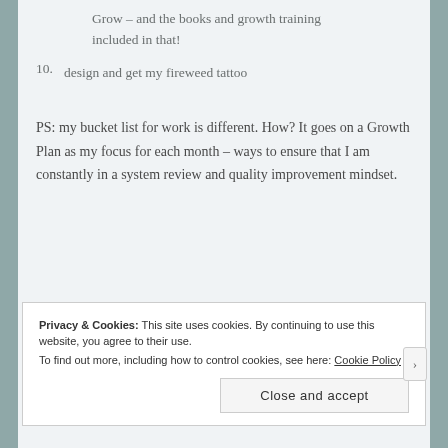Grow – and the books and growth training included in that!
10. design and get my fireweed tattoo
PS: my bucket list for work is different. How? It goes on a Growth Plan as my focus for each month – ways to ensure that I am constantly in a system review and quality improvement mindset.
Privacy & Cookies: This site uses cookies. By continuing to use this website, you agree to their use. To find out more, including how to control cookies, see here: Cookie Policy
Close and accept